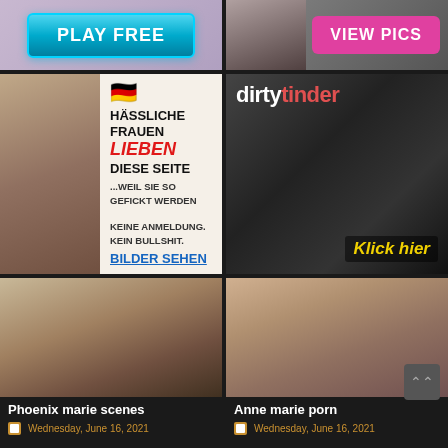[Figure (photo): Ad banner with Play Free button on purple/mauve background]
[Figure (photo): Ad banner with VIEW PICS pink button, woman in jeans photo]
[Figure (photo): German adult ad: HÄSSLICHE FRAUEN LIEBEN DIESE SEITE with German flag, BILDER SEHEN link]
[Figure (photo): Dirty Tinder adult ad with Klick hier yellow text]
[Figure (photo): Adult video thumbnail - blonde woman]
Phoenix marie scenes
Wednesday, June 16, 2021
[Figure (photo): Adult video thumbnail - brunette woman]
Anne marie porn
Wednesday, June 16, 2021